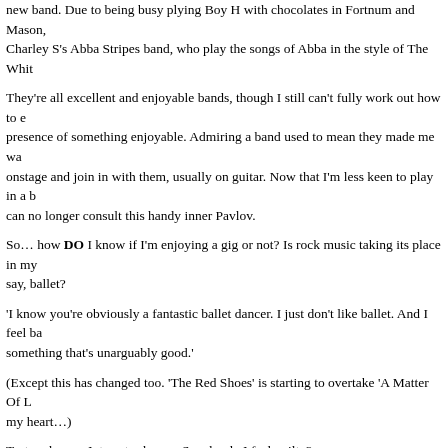new band. Due to being busy plying Boy H with chocolates in Fortnum and Mason, Charley S's Abba Stripes band, who play the songs of Abba in the style of The Whit
They're all excellent and enjoyable bands, though I still can't fully work out how to e presence of something enjoyable. Admiring a band used to mean they made me wa onstage and join in with them, usually on guitar. Now that I'm less keen to play in a b can no longer consult this handy inner Pavlov.
So… how DO I know if I'm enjoying a gig or not? Is rock music taking its place in my say, ballet?
'I know you're obviously a fantastic ballet dancer. I just don't like ballet. And I feel ba something that's unarguably good.'
(Except this has changed too. 'The Red Shoes' is starting to overtake 'A Matter Of L my heart…)
Tastes change. Interests change. So why do I feel guilty?
(I still don't care for olives or truffles, though.)
****
As for being in a band myself, it's the nuts and bolts side of things that irks me tho